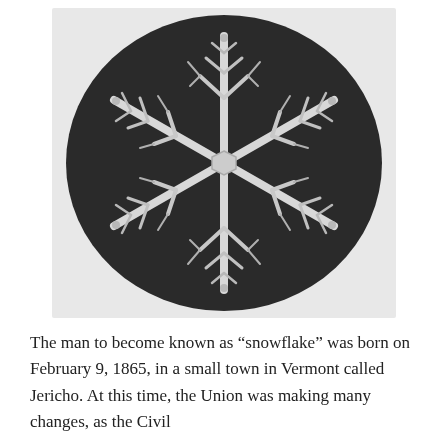[Figure (photo): Black and white close-up photograph of a snowflake crystal against a dark circular background, showing intricate hexagonal symmetry with six main arms and branching dendrites.]
The man to become known as “snowflake” was born on February 9, 1865, in a small town in Vermont called Jericho. At this time, the Union was making many changes, as the Civil